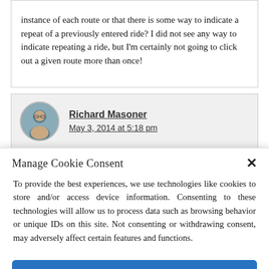instance of each route or that there is some way to indicate a repeat of a previously entered ride? I did not see any way to indicate repeating a ride, but I'm certainly not going to click out a given route more than once!
Richard Masoner
May 3, 2014 at 5:18 pm
Manage Cookie Consent
To provide the best experiences, we use technologies like cookies to store and/or access device information. Consenting to these technologies will allow us to process data such as browsing behavior or unique IDs on this site. Not consenting or withdrawing consent, may adversely affect certain features and functions.
Accept